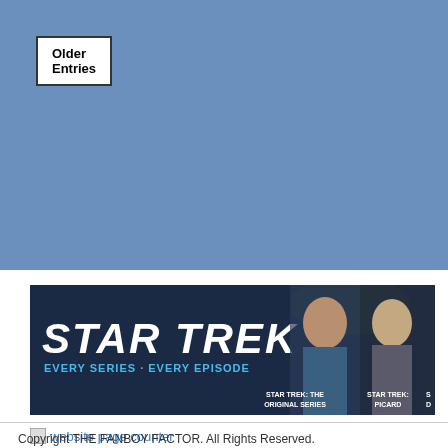Older Entries
[Figure (screenshot): Star Trek promotional banner showing 'STAR TREK EVERY SERIES · EVERY EPISODE' with images of Spock and Picard characters, and labels for STAR TREK: THE ORIGINAL SERIES and STAR TREK: PICARD]
website page counter
Copyright THE FANBOY FACTOR. All Rights Reserved.